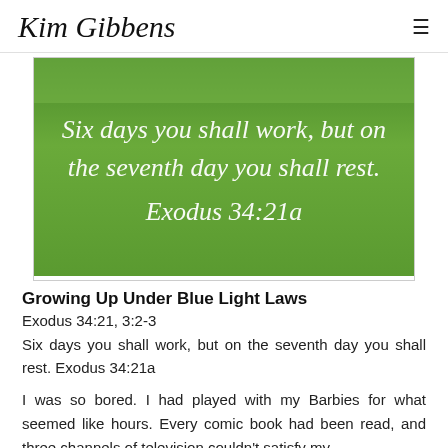Kim Gibbens
[Figure (photo): Green grass field with white script text overlay reading: 'Six days you shall work, but on the seventh day you shall rest. Exodus 34:21a']
Growing Up Under Blue Light Laws
Exodus 34:21, 3:2-3
Six days you shall work, but on the seventh day you shall rest. Exodus 34:21a
I was so bored. I had played with my Barbies for what seemed like hours. Every comic book had been read, and three channels of television couldn't satisfy my